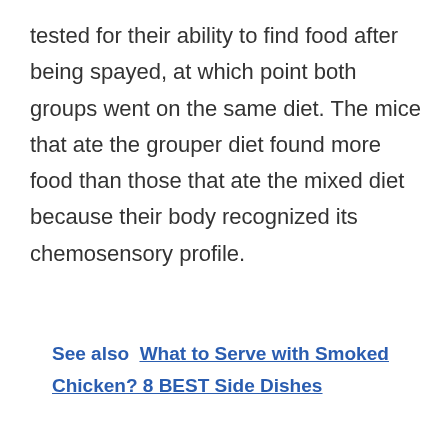tested for their ability to find food after being spayed, at which point both groups went on the same diet. The mice that ate the grouper diet found more food than those that ate the mixed diet because their body recognized its chemosensory profile.
See also  What to Serve with Smoked Chicken? 8 BEST Side Dishes